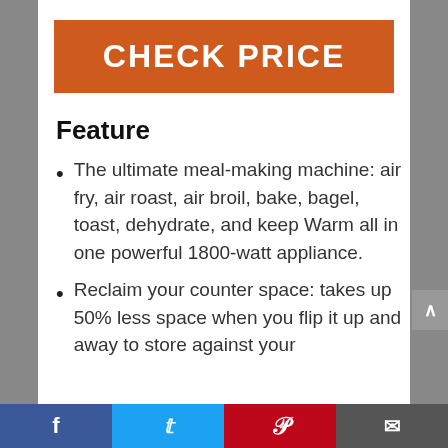[Figure (other): Orange 'CHECK PRICE' button]
Feature
The ultimate meal-making machine: air fry, air roast, air broil, bake, bagel, toast, dehydrate, and keep Warm all in one powerful 1800-watt appliance.
Reclaim your counter space: takes up 50% less space when you flip it up and away to store against your
Facebook | Twitter | Pinterest | Email